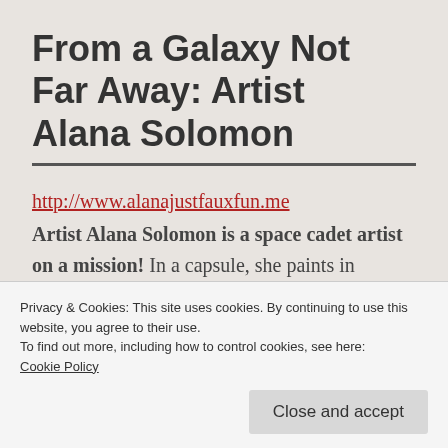From a Galaxy Not Far Away: Artist Alana Solomon
http://www.alanajustfauxfun.me
Artist Alana Solomon is a space cadet artist on a mission! In a capsule, she paints in dazzling lights with spheres of color such that her paint brushes never
Privacy & Cookies: This site uses cookies. By continuing to use this website, you agree to their use.
To find out more, including how to control cookies, see here: Cookie Policy
Close and accept